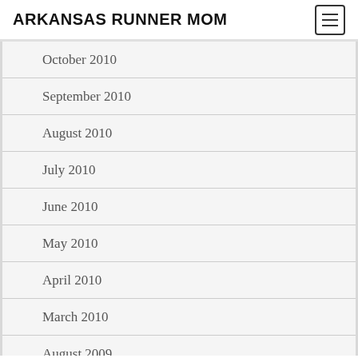ARKANSAS RUNNER MOM
October 2010
September 2010
August 2010
July 2010
June 2010
May 2010
April 2010
March 2010
August 2009
July 2009